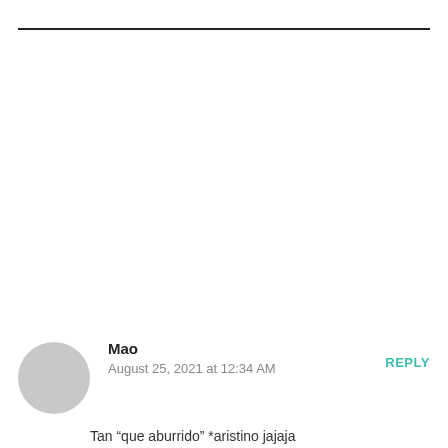Mao
August 25, 2021 at 12:34 AM
REPLY
Tan “que aburrido” *aristino jajaja